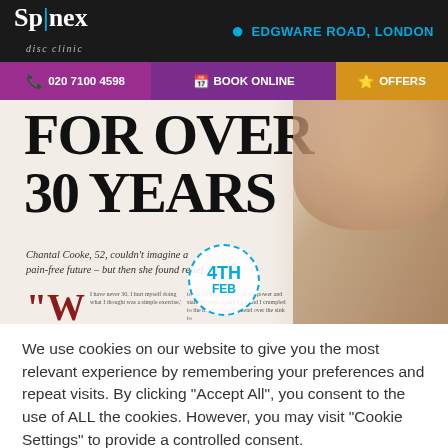Spinex disc clinic — EDGWARE ROAD, LONDON
020 7100 4598 | BOOK ONLINE | OFFERS
[Figure (screenshot): Magazine article clipping showing text 'FOR OVER 30 YEARS' with a woman in background and quote from Chantal Cooke, 52. Also shows a circular badge with '4TH FEB'.]
We use cookies on our website to give you the most relevant experience by remembering your preferences and repeat visits. By clicking "Accept All", you consent to the use of ALL the cookies. However, you may visit "Cookie Settings" to provide a controlled consent.
Cookie Settings
Accept All